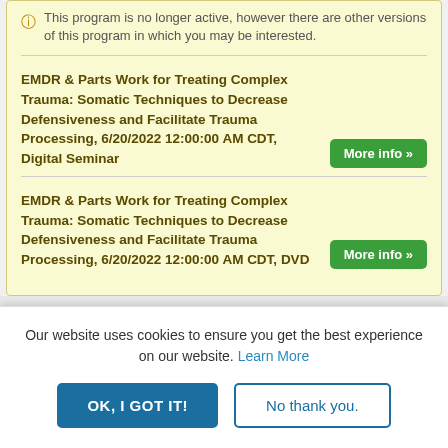This program is no longer active, however there are other versions of this program in which you may be interested.
EMDR & Parts Work for Treating Complex Trauma: Somatic Techniques to Decrease Defensiveness and Facilitate Trauma Processing, 6/20/2022 12:00:00 AM CDT, Digital Seminar
More info »
EMDR & Parts Work for Treating Complex Trauma: Somatic Techniques to Decrease Defensiveness and Facilitate Trauma Processing, 6/20/2022 12:00:00 AM CDT, DVD
More info »
Our website uses cookies to ensure you get the best experience on our website. Learn More
OK, I GOT IT!
No thank you.